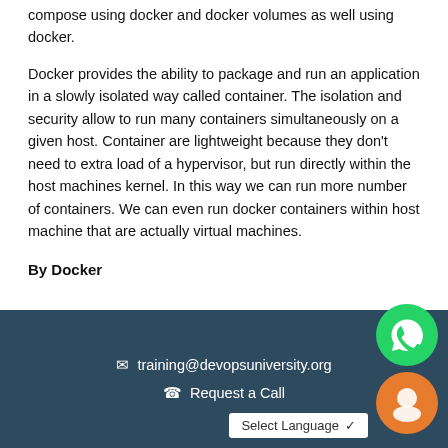compose using docker and docker volumes as well using docker.
Docker provides the ability to package and run an application in a slowly isolated way called container. The isolation and security allow to run many containers simultaneously on a given host. Container are lightweight because they don't need to extra load of a hypervisor, but run directly within the host machines kernel. In this way we can run more number of containers. We can even run docker containers within host machine that are actually virtual machines.
By Docker
✉ training@devopsuniversity.org  ☎ Request a Call  Select Language